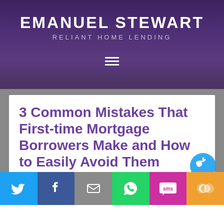EMANUEL STEWART
RELIANT HOME LENDING
3 Common Mistakes That First-time Mortgage Borrowers Make and How to Easily Avoid Them
OCTOBER 5, 2016 BY EMANUEL STEWART
[Figure (other): Social share bar with Twitter, Facebook, Email, WhatsApp, SMS, and More buttons]